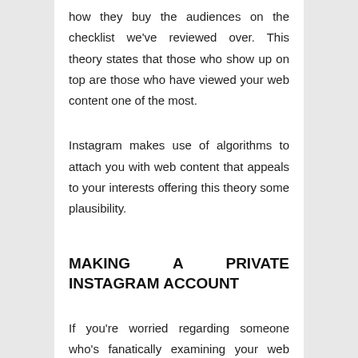how they buy the audiences on the checklist we've reviewed over. This theory states that those who show up on top are those who have viewed your web content one of the most.
Instagram makes use of algorithms to attach you with web content that appeals to your interests offering this theory some plausibility.
MAKING A PRIVATE INSTAGRAM ACCOUNT
If you're worried regarding someone who's fanatically examining your web content on